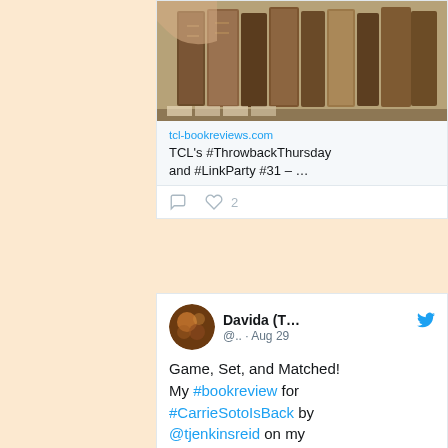[Figure (photo): Photo of old books on a shelf, with hands browsing through them]
tcl-bookreviews.com
TCL's #ThrowbackThursday and #LinkParty #31 – ...
0 comments, 2 likes
Davida (T... @.. · Aug 29
Game, Set, and Matched! My #bookreview for #CarrieSotoIsBack by @tjenkinsreid on my #bookblog now! Thanks @PRHGlobal #PRHGlobalPartner #ad for the ARC via @NetGalley